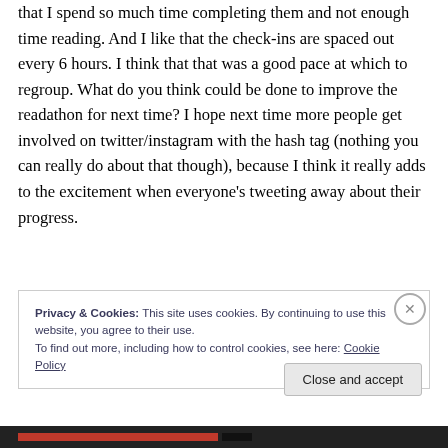that I spend so much time completing them and not enough time reading. And I like that the check-ins are spaced out every 6 hours. I think that that was a good pace at which to regroup. What do you think could be done to improve the readathon for next time? I hope next time more people get involved on twitter/instagram with the hash tag (nothing you can really do about that though), because I think it really adds to the excitement when everyone's tweeting away about their progress.
Privacy & Cookies: This site uses cookies. By continuing to use this website, you agree to their use. To find out more, including how to control cookies, see here: Cookie Policy
Close and accept